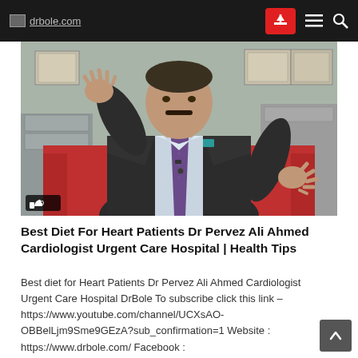drbole.com
[Figure (photo): A male doctor/cardiologist in a dark suit with purple tie, seated in a red chair, gesturing with both hands open. Office background with framed certificates on the wall. Thumbs-up like icon with count 0 overlaid at bottom-left.]
Best Diet For Heart Patients Dr Pervez Ali Ahmed Cardiologist Urgent Care Hospital | Health Tips
Best diet for Heart Patients Dr Pervez Ali Ahmed Cardiologist Urgent Care Hospital DrBole To subscribe click this link – https://www.youtube.com/channel/UCXsAO-OBBelLjm9Sme9GEzA?sub_confirmation=1 Website :  https://www.drbole.com/ Facebook : https://www.facebook.com/drbole Twitter :  https://twitter.com/drbole Instagram